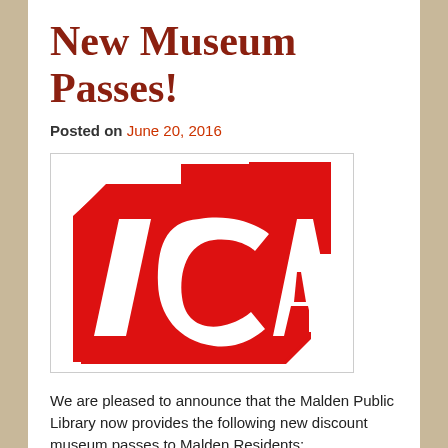New Museum Passes!
Posted on June 20, 2016
[Figure (logo): ICA (Institute of Contemporary Art) logo — bold red geometric design with large white italic letters ICA on a red background with offset rectangular shapes]
We are pleased to announce that the Malden Public Library now provides the following new discount museum passes to Malden Residents:
Institute of Contemporary Art (ICA): Each pass admits 2